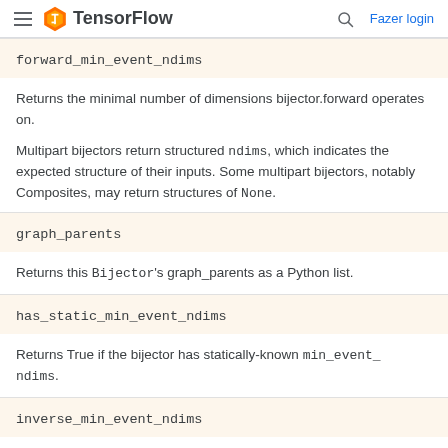TensorFlow — Fazer login
forward_min_event_ndims
Returns the minimal number of dimensions bijector.forward operates on.
Multipart bijectors return structured ndims, which indicates the expected structure of their inputs. Some multipart bijectors, notably Composites, may return structures of None.
graph_parents
Returns this Bijector's graph_parents as a Python list.
has_static_min_event_ndims
Returns True if the bijector has statically-known min_event_ndims.
inverse_min_event_ndims